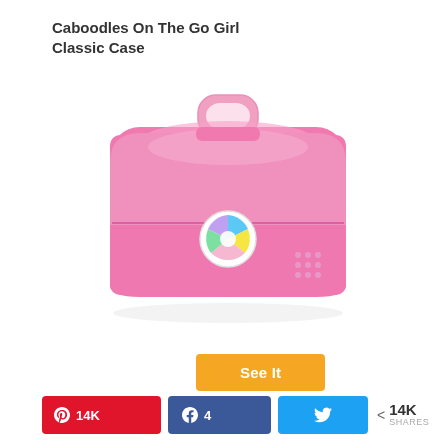Caboodles On The Go Girl Classic Case
[Figure (photo): Pink Caboodles On The Go Girl Classic Case with a handle on top, a decorative circular logo in the center, and a grid of small dots on the right side.]
See It
14K  4  (Twitter icon)  < 14K SHARES